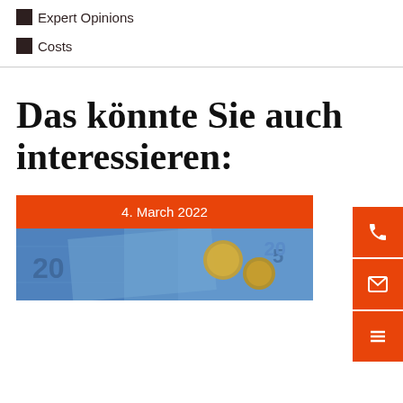Expert Opinions
Costs
Das könnte Sie auch interessieren:
4. March 2022
[Figure (photo): Euro banknotes and coins on a surface]